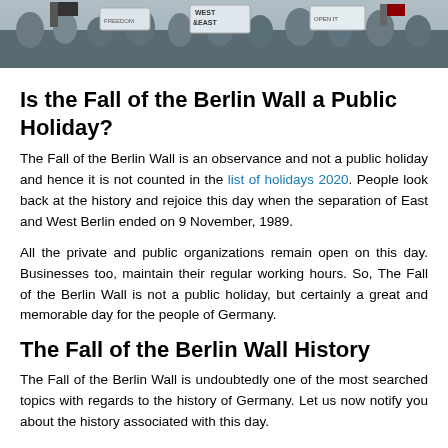[Figure (photo): Crowd of people at a protest or celebration, some holding signs including one reading 'WEST & EAST', taken at what appears to be the fall of the Berlin Wall era.]
Is the Fall of the Berlin Wall a Public Holiday?
The Fall of the Berlin Wall is an observance and not a public holiday and hence it is not counted in the list of holidays 2020. People look back at the history and rejoice this day when the separation of East and West Berlin ended on 9 November, 1989.
All the private and public organizations remain open on this day. Businesses too, maintain their regular working hours. So, The Fall of the Berlin Wall is not a public holiday, but certainly a great and memorable day for the people of Germany.
The Fall of the Berlin Wall History
The Fall of the Berlin Wall is undoubtedly one of the most searched topics with regards to the history of Germany. Let us now notify you about the history associated with this day.